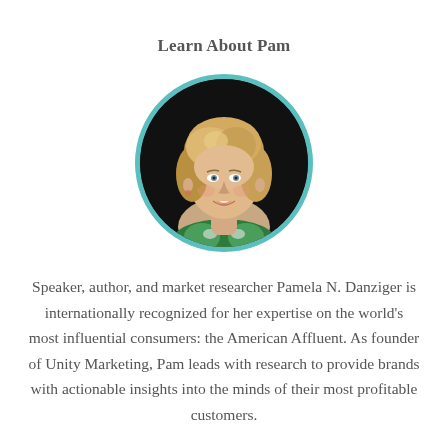Learn About Pam
[Figure (photo): Circular portrait photo of Pamela N. Danziger, a woman with blonde hair, smiling, wearing a patterned top, set against a dark background, framed with a teal/turquoise circular border.]
Speaker, author, and market researcher Pamela N. Danziger is internationally recognized for her expertise on the world's most influential consumers: the American Affluent. As founder of Unity Marketing, Pam leads with research to provide brands with actionable insights into the minds of their most profitable customers.